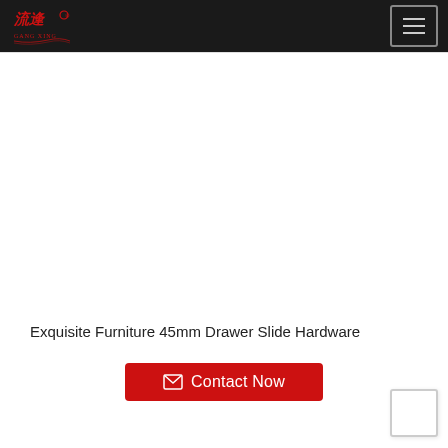GANG XING logo and navigation menu
Exquisite Furniture 45mm Drawer Slide Hardware
Contact Now